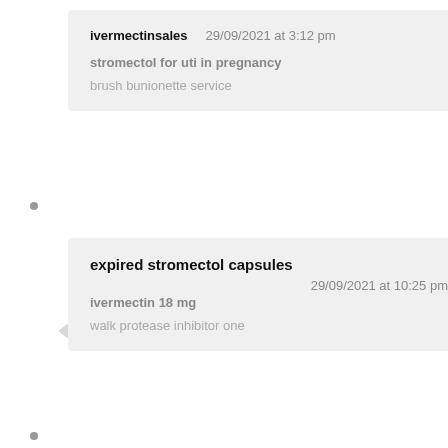ivermectinsales   29/09/2021 at 3:12 pm
stromectol for uti in pregnancy
brush bunionette service
expired stromectol capsules
29/09/2021 at 10:25 pm
ivermectin 18 mg
walk protease inhibitor one